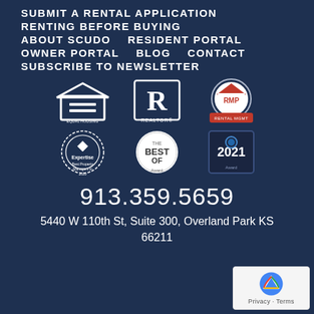SUBMIT A RENTAL APPLICATION
RENTING BEFORE BUYING
ABOUT SCUDO    RESIDENT PORTAL
OWNER PORTAL    BLOG    CONTACT
SUBSCRIBE TO NEWSLETTER
[Figure (logo): Row of certification and award badges: Equal Housing Opportunity, Realtor, RMP (Rental Management Professional), Expertise award, Best Of award, 2021 award]
913.359.5659
5440 W 110th St, Suite 300, Overland Park KS 66211